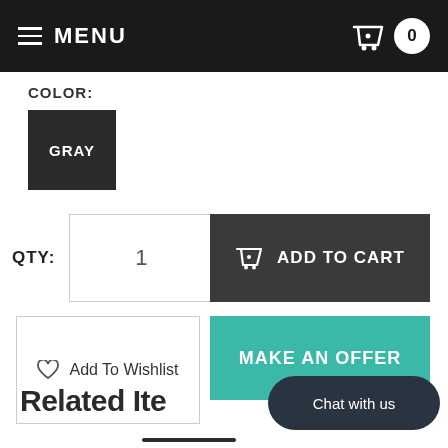MENU  🛒 0
COLOR:
GRAY
QTY:  1
ADD TO CART
MAKE AN OFFER
♡ Add To Wishlist
Related Ite
Chat with us